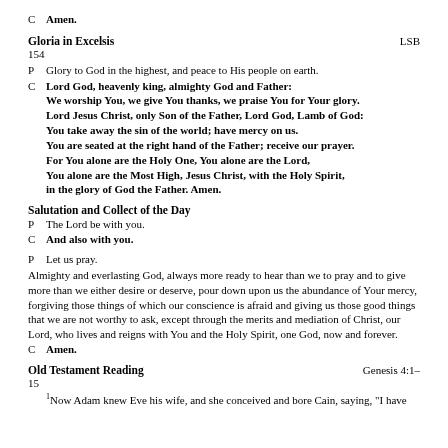C   Amen.
Gloria in Excelsis   LSB 154
P   Glory to God in the highest, and peace to His people on earth.
C   Lord God, heavenly king, almighty God and Father: We worship You, we give You thanks, we praise You for Your glory. Lord Jesus Christ, only Son of the Father, Lord God, Lamb of God: You take away the sin of the world; have mercy on us. You are seated at the right hand of the Father; receive our prayer. For You alone are the Holy One, You alone are the Lord, You alone are the Most High, Jesus Christ, with the Holy Spirit, in the glory of God the Father. Amen.
Salutation and Collect of the Day
P   The Lord be with you.
C   And also with you.
P   Let us pray.
Almighty and everlasting God, always more ready to hear than we to pray and to give more than we either desire or deserve, pour down upon us the abundance of Your mercy, forgiving those things of which our conscience is afraid and giving us those good things that we are not worthy to ask, except through the merits and mediation of Christ, our Lord, who lives and reigns with You and the Holy Spirit, one God, now and forever.
C   Amen.
Old Testament Reading   Genesis 4:1–15
1Now Adam knew Eve his wife, and she conceived and bore Cain, saying, "I have